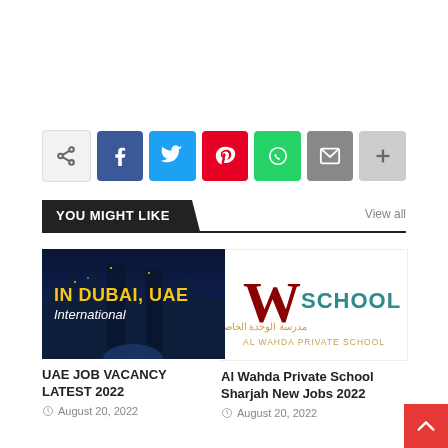[Figure (infographic): Social share bar with share icon, Facebook (blue), Twitter (cyan), Pinterest (red), WhatsApp (green), Email (grey), and more (+) buttons]
YOU MIGHT LIKE
View all
[Figure (photo): Dubai city skyline at night with yellow text 'IN DUBAI, UAE' and cursive 'International']
UAE JOB VACANCY LATEST 2022
August 20, 2022
[Figure (logo): Al Wahda Private School logo: W in red/maroon, SCHOOL in teal, Arabic text, AL WAHDA PRIVATE SCHOOL in gold]
Al Wahda Private School Sharjah New Jobs 2022
August 20, 2022